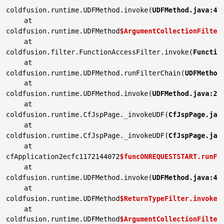coldfusion.runtime.UDFMethod.invoke(UDFMethod.java:4
    at
coldfusion.runtime.UDFMethod$ArgumentCollectionFilte
    at
coldfusion.filter.FunctionAccessFilter.invoke(Functi
    at
coldfusion.runtime.UDFMethod.runFilterChain(UDFMetho
    at
coldfusion.runtime.UDFMethod.invoke(UDFMethod.java:2
    at
coldfusion.runtime.CfJspPage._invokeUDF(CfJspPage.ja
    at
coldfusion.runtime.CfJspPage._invokeUDF(CfJspPage.ja
    at
cfApplication2ecfc1172144072$funcONREQUESTSTART.runF
    at
coldfusion.runtime.UDFMethod.invoke(UDFMethod.java:4
    at
coldfusion.runtime.UDFMethod$ReturnTypeFilter.invoke
    at
coldfusion.runtime.UDFMethod$ArgumentCollectionFilte
    at